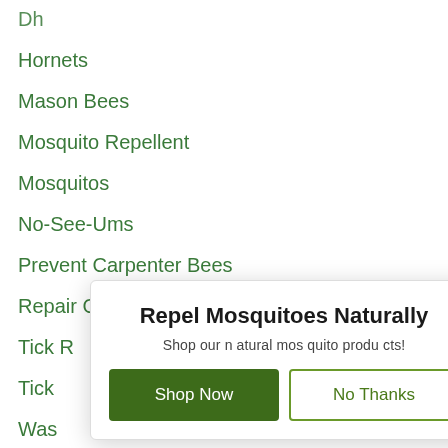Dh
Hornets
Mason Bees
Mosquito Repellent
Mosquitos
No-See-Ums
Prevent Carpenter Bees
Repair Carpenter Bee Damage
Tick Repellent (partially obscured)
Tick (partially obscured)
Wasp (partially obscured)
[Figure (screenshot): Popup modal with title 'Repel Mosquitoes Naturally', subtitle 'Shop our natural mosquito products!', and two buttons: 'Shop Now' (green filled) and 'No Thanks' (green outline). A close X button is in the top right corner.]